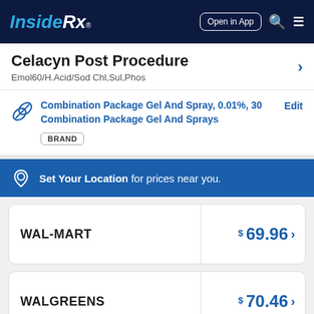Inside Rx® — Open in App
Celacyn Post Procedure
Emol60/H.Acid/Sod Chl,Sul,Phos
Combination Package Gel And Spray, 0.01%, 30 Combination Package Gel And Sprays  Edit  BRAND
Set Your Location for prices near you.
| Pharmacy | Price |
| --- | --- |
| WAL-MART | $69.96 |
| WALGREENS | $70.46 |